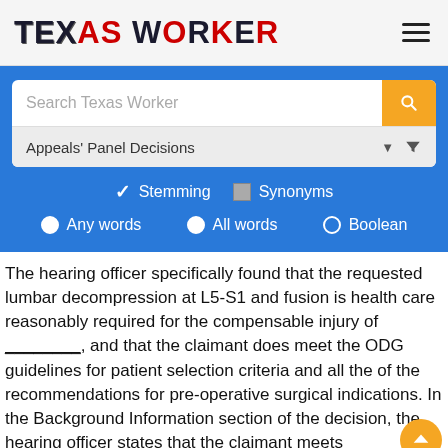TEXAS WORKER
[Figure (screenshot): Search interface with search bar labeled 'Search Texas Worker', a yellow search button, a dropdown for 'Appeals' Panel Decisions', Stemming and Synonyms checkboxes, and Any words / All words / Boolean radio buttons on a blue background]
The hearing officer specifically found that the requested lumbar decompression at L5-S1 and fusion is health care reasonably required for the compensable injury of ________, and that the claimant does meet the ODG guidelines for patient selection criteria and all the of the recommendations for pre-operative surgical indications. In the Background Information section of the decision, the hearing officer states that the claimant meets